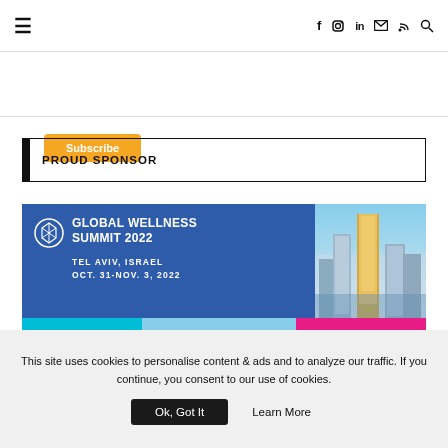Navigation bar with hamburger menu and social icons: f, Instagram, in, email, RSS, search
Subscribe
PROUD SPONSOR
[Figure (infographic): Global Wellness Summit 2022 banner. Text: GLOBAL WELLNESS SUMMIT 2022, TEL AVIV, ISRAEL, OCT. 31-NOV. 3, 2022. Left side blue background with logo, right side city skyline photo with cyan, beach-scene and magenta color strips below.]
This site uses cookies to personalise content & ads and to analyze our traffic. If you continue, you consent to our use of cookies.